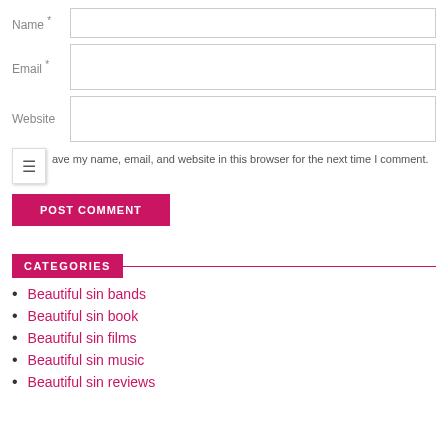Name *
Email *
Website
Save my name, email, and website in this browser for the next time I comment.
POST COMMENT
CATEGORIES
Beautiful sin bands
Beautiful sin book
Beautiful sin films
Beautiful sin music
Beautiful sin reviews